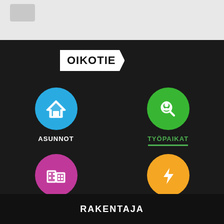[Figure (screenshot): Oikotie app screenshot showing navigation icons: ASUNNOT (blue house icon), TYÖPAIKAT (green search person icon, highlighted with green underline), TOIMITILAT (pink building icon), SÄHKÖVERTAILU (orange lightning bolt icon), with RAKENTAJA label at bottom]
OIKOTIE
ASUNNOT
TYÖPAIKAT
TOIMITILAT
SÄHKÖVERTAILU
RAKENTAJA